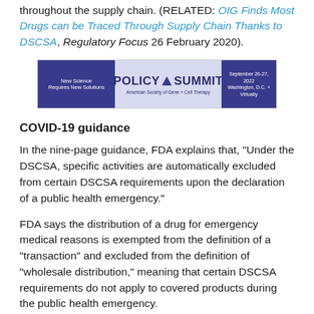throughout the supply chain. (RELATED: OIG Finds Most Drugs can be Traced Through Supply Chain Thanks to DSCSA, Regulatory Focus 26 February 2020).
[Figure (logo): Policy Summit banner for American Society of Gene + Cell Therapy, September 26-27, 2022, Washington D.C. + Virtually. Left and right panels are dark navy blue, center panel is light blue-purple with 'POLICY SUMMIT' text and triangle logo.]
COVID-19 guidance
In the nine-page guidance, FDA explains that, "Under the DSCSA, specific activities are automatically excluded from certain DSCSA requirements upon the declaration of a public health emergency."
FDA says the distribution of a drug for emergency medical reasons is exempted from the definition of a "transaction" and excluded from the definition of "wholesale distribution," meaning that certain DSCSA requirements do not apply to covered products during the public health emergency.